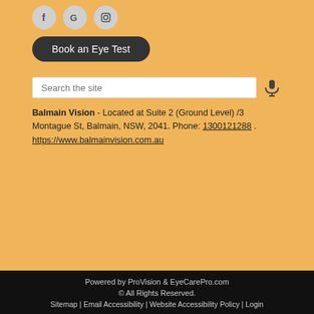[Figure (other): Three social media icons: Facebook (f), Google (G), Instagram (camera) in grey circles]
Book an Eye Test
Search the site
Balmain Vision - Located at Suite 2 (Ground Level) /3 Montague St, Balmain, NSW, 2041. Phone: 1300121288 . https://www.balmainvision.com.au
Powered by ProVision & EyeCarePro.com
© All Rights Reserved.
Sitemap | Email Accessibility | Website Accessibility Policy | Login